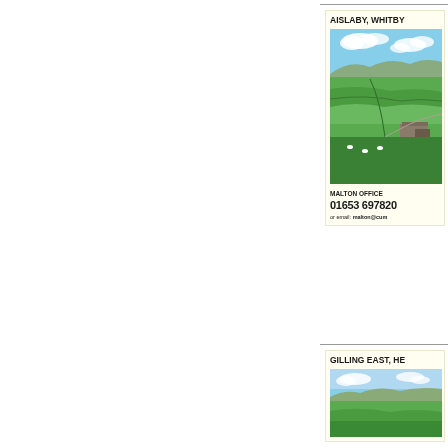AISLABY, WHITBY
[Figure (photo): Aerial view of a farm property with green fields, a winding road, and farm buildings near Aislaby, Whitby]
MALTON OFFICE
01653 697820
or email: malton@cum...
GILLING EAST, HE...
[Figure (photo): Landscape photo of Gilling East with green fields and hills under a blue sky]